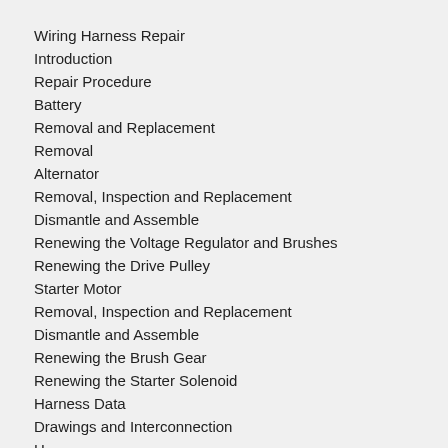Wiring Harness Repair
Introduction
Repair Procedure
Battery
Removal and Replacement
Removal
Alternator
Removal, Inspection and Replacement
Dismantle and Assemble
Renewing the Voltage Regulator and Brushes
Renewing the Drive Pulley
Starter Motor
Removal, Inspection and Replacement
Dismantle and Assemble
Renewing the Brush Gear
Renewing the Starter Solenoid
Harness Data
Drawings and Interconnection
H...